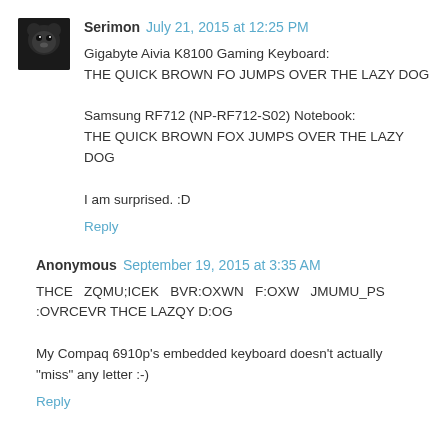[Figure (photo): Small avatar image of a black cat/bear-like profile picture]
Serimon July 21, 2015 at 12:25 PM
Gigabyte Aivia K8100 Gaming Keyboard:
THE QUICK BROWN FO JUMPS OVER THE LAZY DOG

Samsung RF712 (NP-RF712-S02) Notebook:
THE QUICK BROWN FOX JUMPS OVER THE LAZY DOG

I am surprised. :D
Reply
Anonymous September 19, 2015 at 3:35 AM
THCE   ZQMU;ICEK   BVR:OXWN   F:OXW   JMUMU_PS :OVRCEVR THCE LAZQY D:OG

My Compaq 6910p's embedded keyboard doesn't actually "miss" any letter :-)
Reply